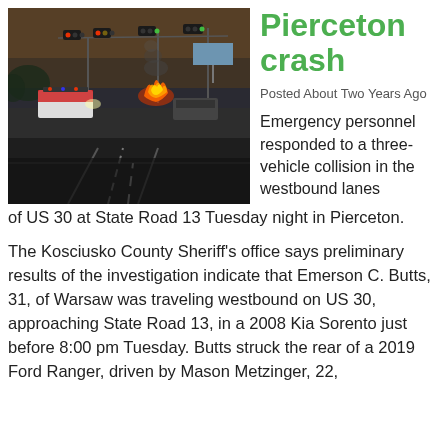[Figure (photo): Night scene of a road intersection with emergency vehicles and a vehicle on fire in the background, traffic lights visible overhead, dark asphalt road in foreground]
Pierceton crash
Posted About Two Years Ago
Emergency personnel responded to a three-vehicle collision in the westbound lanes of US 30 at State Road 13 Tuesday night in Pierceton.
The Kosciusko County Sheriff's office says preliminary results of the investigation indicate that Emerson C. Butts, 31, of Warsaw was traveling westbound on US 30, approaching State Road 13, in a 2008 Kia Sorento just before 8:00 pm Tuesday. Butts struck the rear of a 2019 Ford Ranger, driven by Mason Metzinger, 22,